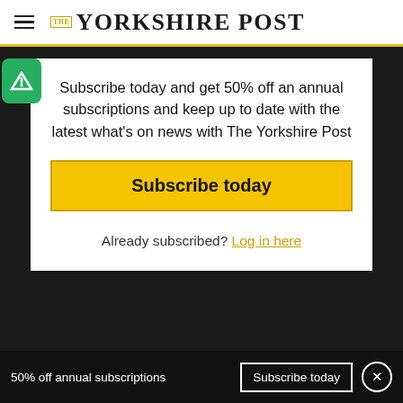THE YORKSHIRE POST
Subscribe today and get 50% off an annual subscriptions and keep up to date with the latest what's on news with The Yorkshire Post
Subscribe today
Already subscribed? Log in here
50% off annual subscriptions   Subscribe today